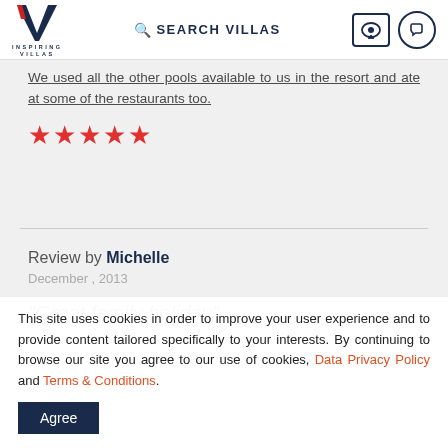INSPIRING VILLAS | SEARCH VILLAS
We used all the other pools available to us in the resort and ate at some of the restaurants too.
[Figure (other): Five red star rating icons]
Review by Michelle
December , 2013
"Great family holiday"
This site uses cookies in order to improve your user experience and to provide content tailored specifically to your interests. By continuing to browse our site you agree to our use of cookies, Data Privacy Policy and Terms & Conditions. Agree